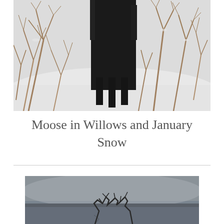[Figure (photo): A dark-colored moose standing among bare willow branches covered in snow, white snowy background, winter scene photographed from below.]
Moose in Willows and January Snow
[Figure (photo): Partial view of a second photo showing a misty or foggy winter scene, with what appears to be antlers or branches visible at the bottom, dark tones with foggy blue-grey background.]